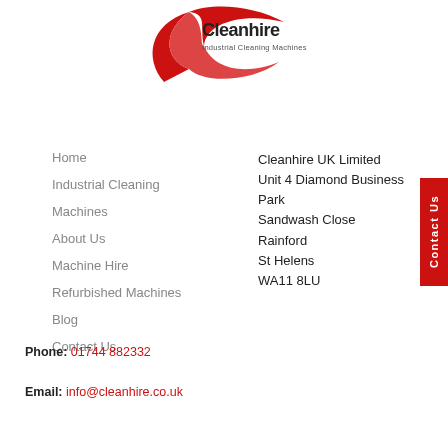[Figure (logo): Cleanhire Industrial Cleaning Machines logo with red swoosh]
Home
Industrial Cleaning Machines
About Us
Machine Hire
Refurbished Machines
Blog
Contact Us
Cleanhire UK Limited
Unit 4 Diamond Business Park
Sandwash Close
Rainford
St Helens
WA11 8LU
Phone: 01744 882332
Email: info@cleanhire.co.uk